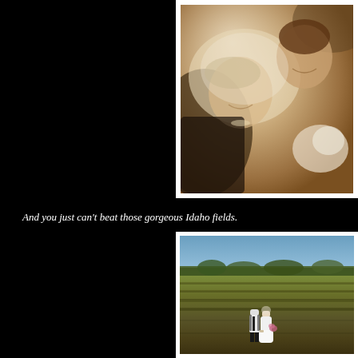[Figure (photo): Sepia-toned wedding photograph of a bride and groom lying down together, smiling. The bride is wearing a white veil and holding a bouquet of white flowers. The groom is in a black suit.]
And you just can't beat those gorgeous Idaho fields.
[Figure (photo): Color photograph of a bride and groom walking together in a vast green Idaho field under a blue sky. Trees line the distant horizon. The groom is in white shirt with suspenders and tie, the bride in a white dress carrying a bouquet.]